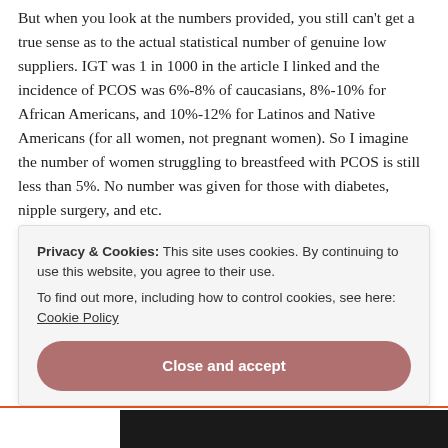But when you look at the numbers provided, you still can't get a true sense as to the actual statistical number of genuine low suppliers. IGT was 1 in 1000 in the article I linked and the incidence of PCOS was 6%-8% of caucasians, 8%-10% for African Americans, and 10%-12% for Latinos and Native Americans (for all women, not pregnant women). So I imagine the number of women struggling to breastfeed with PCOS is still less than 5%. No number was given for those with diabetes, nipple surgery, and etc.
You may be right that the number of women who actually cannot produce is higher than 5%; however, I cannot find any true data
Privacy & Cookies: This site uses cookies. By continuing to use this website, you agree to their use.
To find out more, including how to control cookies, see here: Cookie Policy